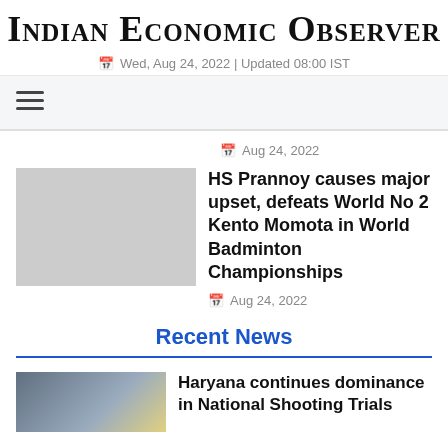Indian Economic Observer
Wed, Aug 24, 2022 | Updated 08:00 IST
Aug 24, 2022
HS Prannoy causes major upset, defeats World No 2 Kento Momota in World Badminton Championships
Aug 24, 2022
Recent News
Haryana continues dominance in National Shooting Trials